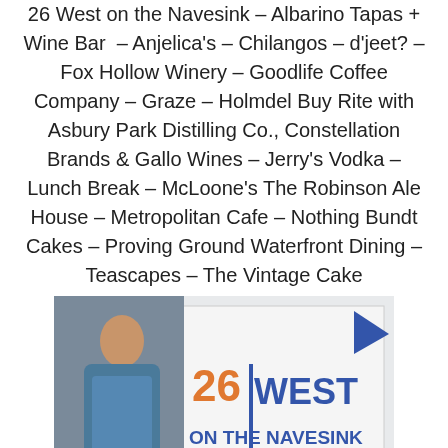26 West on the Navesink – Albarino Tapas + Wine Bar – Anjelica's – Chilangos – d'jeet? – Fox Hollow Winery – Goodlife Coffee Company – Graze – Holmdel Buy Rite with Asbury Park Distilling Co., Constellation Brands & Gallo Wines – Jerry's Vodka – Lunch Break – McLoone's The Robinson Ale House – Metropolitan Cafe – Nothing Bundt Cakes – Proving Ground Waterfront Dining – Teascapes – The Vintage Cake
[Figure (photo): A woman standing in front of a '26 West on the Navesink' banner with a blue pennant flag logo]
[Figure (photo): Group photo of people at an event with two monitors/podiums visible in the background]